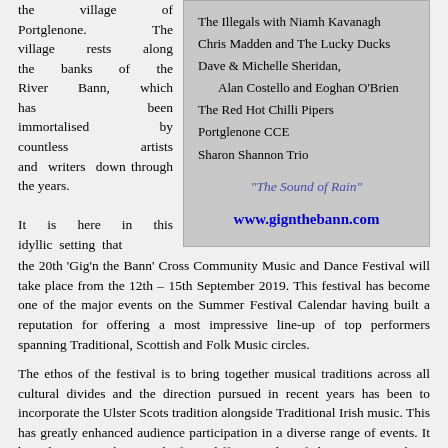the village of Portglenone. The village rests along the banks of the River Bann, which has been immortalised by countless artists and writers down through the years.

It is here in this idyllic setting that
The Illegals with Niamh Kavanagh
Chris Madden and The Lucky Ducks
Dave & Michelle Sheridan,
Alan Costello and Eoghan O'Brien
The Red Hot Chilli Pipers
Portglenone CCE
Sharon Shannon Trio
"The Sound of Rain"
www.gignthebann.com
the 20th 'Gig'n the Bann' Cross Community Music and Dance Festival will take place from the 12th – 15th September 2019. This festival has become one of the major events on the Summer Festival Calendar having built a reputation for offering a most impressive line-up of top performers spanning Traditional, Scottish and Folk Music circles.
The ethos of the festival is to bring together musical traditions across all cultural divides and the direction pursued in recent years has been to incorporate the Ulster Scots tradition alongside Traditional Irish music. This has greatly enhanced audience participation in a diverse range of events. It has also meant that people from different sides of the community have become exposed to music, song and dance that they may not have been